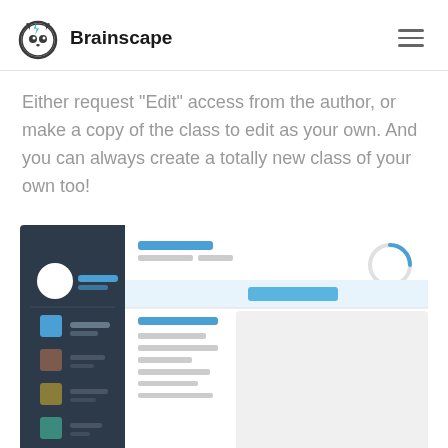Brainscape
Either request "Edit" access from the author, or make a copy of the class to edit as your own. And you can always create a totally new class of your own too!
[Figure (screenshot): Screenshot of the Brainscape web application interface showing the dashboard with a dark sidebar navigation on the left containing user avatar, active menu items in blue, and the main content area on the right with a loading spinner, highlighted row, and content list with a gray panel.]